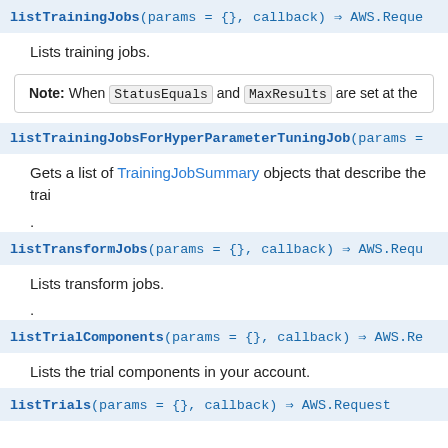listTrainingJobs(params = {}, callback) ⇒ AWS.Reque
Lists training jobs.
Note: When StatusEquals and MaxResults are set at the
listTrainingJobsForHyperParameterTuningJob(params =
Gets a list of TrainingJobSummary objects that describe the trai
.
listTransformJobs(params = {}, callback) ⇒ AWS.Requ
Lists transform jobs.
.
listTrialComponents(params = {}, callback) ⇒ AWS.Re
Lists the trial components in your account.
listTrials(params = {}, callback) ⇒ AWS.Request